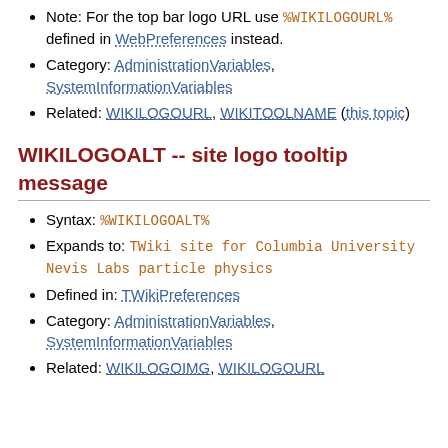Note: For the top bar logo URL use %WIKILOGOURL% defined in WebPreferences instead.
Category: AdministrationVariables, SystemInformationVariables
Related: WIKILOGOURL, WIKITOOLNAME (this topic)
WIKILOGOALT -- site logo tooltip message
Syntax: %WIKILOGOALT%
Expands to: TWiki site for Columbia University Nevis Labs particle physics
Defined in: TWikiPreferences
Category: AdministrationVariables, SystemInformationVariables
Related: WIKILOGOIMG, WIKILOGOURL